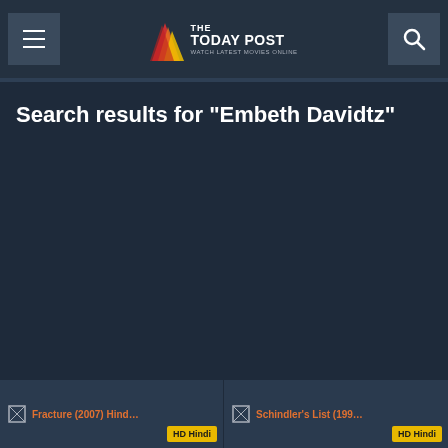The Today Post - Watch Latest Movies Online
Search results for "Embeth Davidtz"
[Figure (screenshot): Movie card for Fracture (2007) Hindi with HD Hindi badge]
[Figure (screenshot): Movie card for Schindler's List (1993) Hindi with HD Hindi badge]